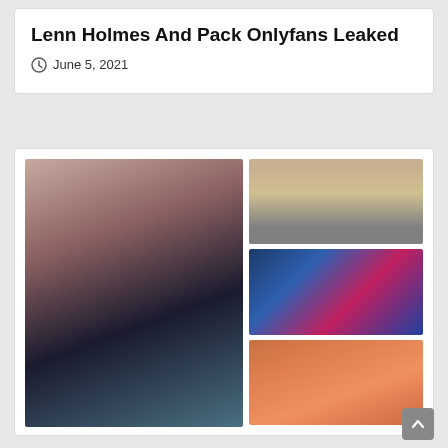Lenn Holmes And Pack Onlyfans Leaked
June 5, 2021
[Figure (photo): Main large photo of a young woman with long dark hair wearing a blue lace top, and three smaller side photos of women]
[Figure (photo): Side photo 1: woman in white outfit near a car]
[Figure (photo): Side photo 2: woman in neon-lit scene with pink and blue lighting]
[Figure (photo): Side photo 3: woman in pink top, partially visible]